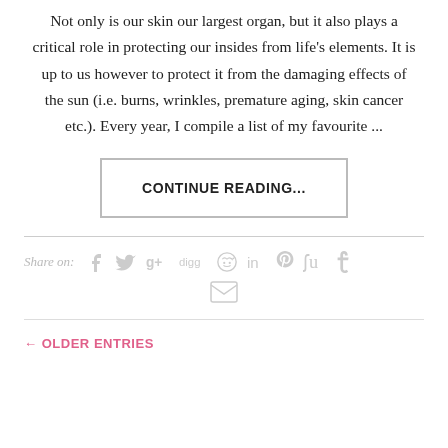Not only is our skin our largest organ, but it also plays a critical role in protecting our insides from life's elements. It is up to us however to protect it from the damaging effects of the sun (i.e. burns, wrinkles, premature aging, skin cancer etc.). Every year, I compile a list of my favourite ...
CONTINUE READING...
Share on: [facebook] [twitter] [google+] [digg] [reddit] [linkedin] [pinterest] [stumbleupon] [tumblr] [email]
← OLDER ENTRIES